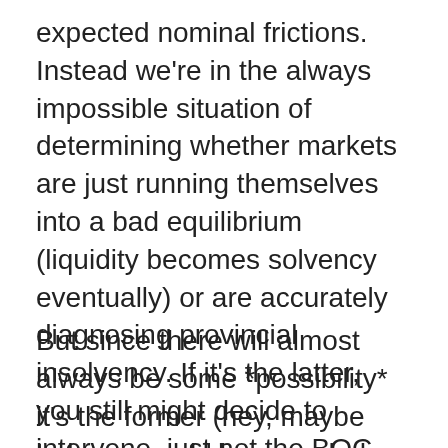expected nominal frictions. Instead we're in the always impossible situation of determining whether markets are just running themselves into a bad equilibrium (liquidity becomes solvency eventually) or are accurately diagnosing provincial insolvency. If it's the latter, you still might decide to intervene, just not the BOC.
But since there will almost always be some *possibility* it's the former (hey, maybe Lehman could have ended up solvent), there will always be an argument for the BOC involvement as a provincial